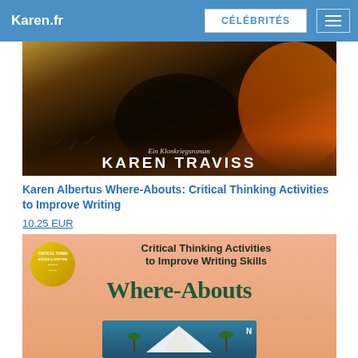Karen.fr | CÉLÉBRITÉS
[Figure (photo): Book cover image with dark outdoors background showing 'Ein Klonkriegsroman' subtitle and author name 'KAREN TRAVISS']
Karen Albertus Where-Abouts: Critical Thinking Activities to Improve Writing
10.25 EUR
[Figure (photo): Book cover for 'Where-Abouts: Critical Thinking Activities to Improve Writing Skills' with yellow circular badge and teal/dark green title text on peach/salmon background]